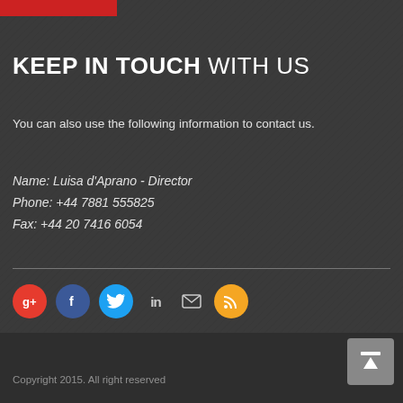KEEP IN TOUCH WITH US
You can also use the following information to contact us.
Name: Luisa d'Aprano - Director
Phone: +44 7881 555825
Fax: +44 20 7416 6054
[Figure (infographic): Social media icons row: Google+, Facebook, Twitter, LinkedIn, Email, RSS]
Copyright 2015. All right reserved